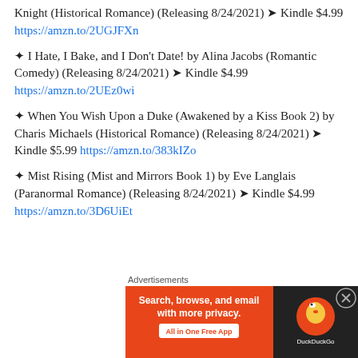✦ Knight (Historical Romance) (Releasing 8/24/2021) ➤ Kindle $4.99 https://amzn.to/2UGJFXn
✦ I Hate, I Bake, and I Don't Date! by Alina Jacobs (Romantic Comedy) (Releasing 8/24/2021) ➤ Kindle $4.99 https://amzn.to/2UEz0wi
✦ When You Wish Upon a Duke (Awakened by a Kiss Book 2) by Charis Michaels (Historical Romance) (Releasing 8/24/2021) ➤ Kindle $5.99 https://amzn.to/383kIZo
✦ Mist Rising (Mist and Mirrors Book 1) by Eve Langlais (Paranormal Romance) (Releasing 8/24/2021) ➤ Kindle $4.99 https://amzn.to/3D6UiEt
[Figure (other): DuckDuckGo advertisement banner: 'Search, browse, and email with more privacy. All in One Free App' with DuckDuckGo logo on dark background.]